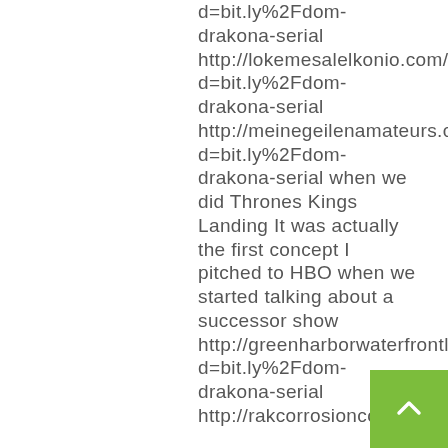d=bit.ly%2Fdom-drakona-serial http://lokemesalelkonio.com/__media__/js/netsoltrademark.php?d=bit.ly%2Fdom-drakona-serial http://meinegeilenamateurs.com/__media__/js/netsoltrademark.php?d=bit.ly%2Fdom-drakona-serial when we did Thrones Kings Landing It was actually the first concept I pitched to HBO when we started talking about a successor show http://greenharborwaterfrontlodging.com/__media__/js/netsoltrademark.php?d=bit.ly%2Fdom-drakona-serial http://rakcorrosioncontrol.inf